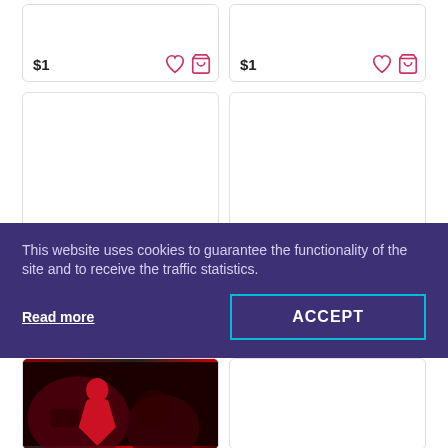[Figure (screenshot): E-commerce product grid showing two product cards at top with price $1 each and heart/cart icons, two tall empty product cards below, a cookie consent banner overlaying the bottom portion with 'Read more' link and 'ACCEPT' button, and a partially visible product card with a dark red photo at the very bottom left.]